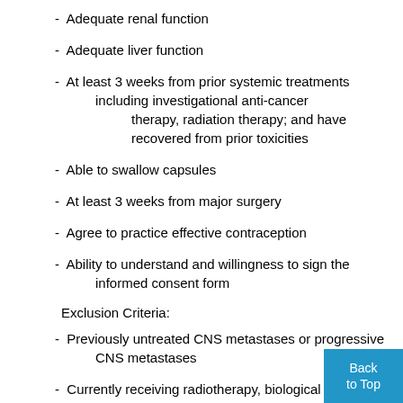- Adequate renal function
- Adequate liver function
- At least 3 weeks from prior systemic treatments including investigational anti-cancer therapy, radiation therapy; and have recovered from prior toxicities
- Able to swallow capsules
- At least 3 weeks from major surgery
- Agree to practice effective contraception
- Ability to understand and willingness to sign the informed consent form
Exclusion Criteria:
- Previously untreated CNS metastases or progressive CNS metastases
- Currently receiving radiotherapy, biological therapy, or a